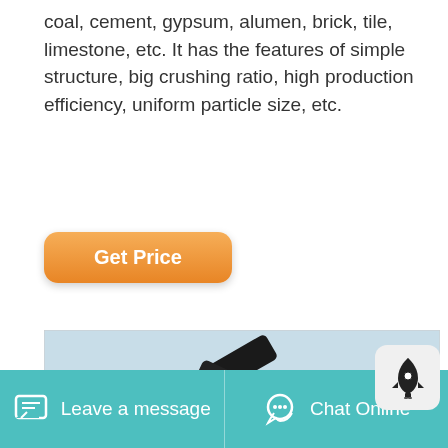coal, cement, gypsum, alumen, brick, tile, limestone, etc. It has the features of simple structure, big crushing ratio, high production efficiency, uniform particle size, etc.
[Figure (screenshot): Industrial stone crushing and conveyor belt machinery system in an open quarry with mountains in the background]
Leave a message
Chat Online